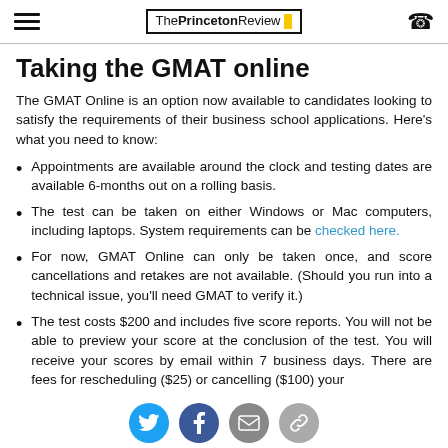The Princeton Review
Taking the GMAT online
The GMAT Online is an option now available to candidates looking to satisfy the requirements of their business school applications. Here's what you need to know:
Appointments are available around the clock and testing dates are available 6-months out on a rolling basis.
The test can be taken on either Windows or Mac computers, including laptops. System requirements can be checked here.
For now, GMAT Online can only be taken once, and score cancellations and retakes are not available. (Should you run into a technical issue, you'll need GMAT to verify it.)
The test costs $200 and includes five score reports. You will not be able to preview your score at the conclusion of the test. You will receive your scores by email within 7 business days. There are fees for rescheduling ($25) or cancelling ($100) your